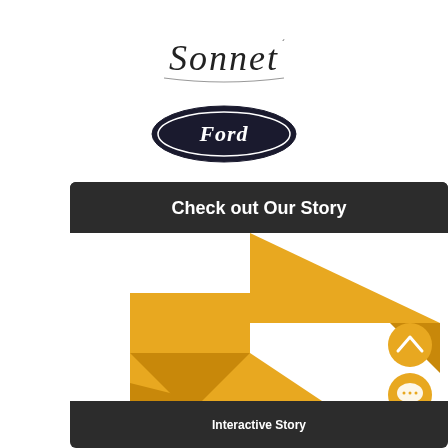[Figure (logo): Sonnet script logo in black]
[Figure (logo): Ford oval logo in dark blue/black with Ford script]
[Figure (screenshot): Mobile app screenshot with dark header saying 'Check out Our Story' and a yellow origami/tangram bird graphic below, with navigation buttons on the right side]